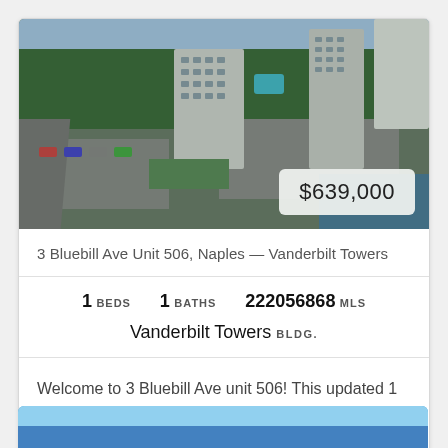[Figure (photo): Aerial drone photograph of Vanderbilt Towers condo complex in Naples, FL showing multi-story buildings, parking lots, palm trees, and waterway]
$639,000
3 Bluebill Ave Unit 506, Naples — Vanderbilt Towers
1 BEDS   1 BATHS   222056868 MLS
Vanderbilt Towers BLDG.
Welcome to 3 Bluebill Ave unit 506! This updated 1 bedroom condo truly does represent the Naples lifestyle, as the first thing you notice once you enter this light and b...
[Figure (photo): Partial view of a second listing photo showing blue sky/water]